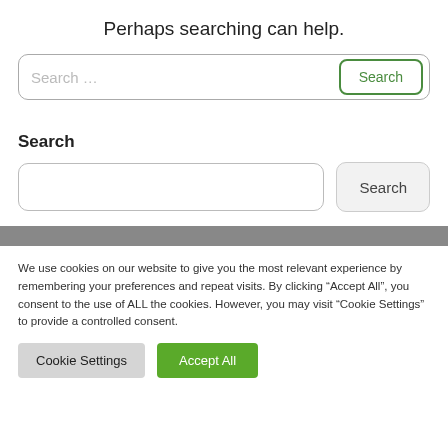Perhaps searching can help.
[Figure (screenshot): Search bar with placeholder text 'Search ...' and a green-bordered 'Search' button on the right]
Search
[Figure (screenshot): Widget search bar with empty text input and a gray 'Search' button]
We use cookies on our website to give you the most relevant experience by remembering your preferences and repeat visits. By clicking “Accept All”, you consent to the use of ALL the cookies. However, you may visit "Cookie Settings" to provide a controlled consent.
Cookie Settings   Accept All